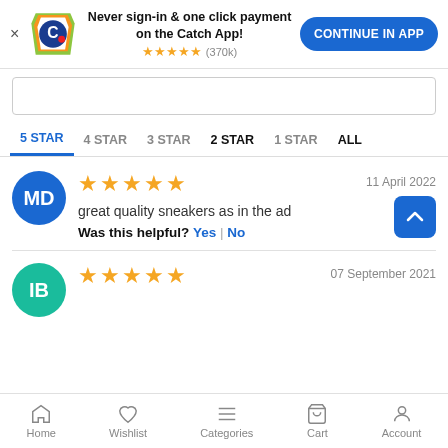[Figure (screenshot): Catch app promotional banner with logo, text 'Never sign-in & one click payment on the Catch App!', 5-star rating (370k), and CONTINUE IN APP button]
5 STAR  4 STAR  3 STAR  2 STAR  1 STAR  ALL
★★★★★  11 April 2022
great quality sneakers as in the ad
Was this helpful? Yes | No
★★★★★  07 September 2021